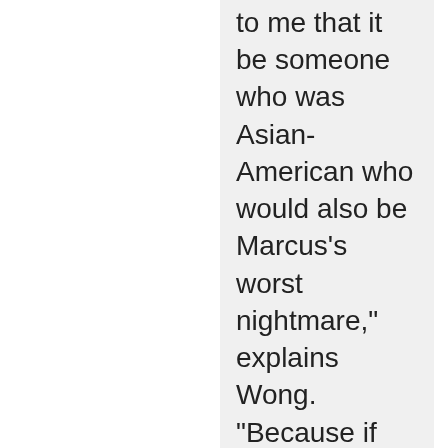to me that it be someone who was Asian-American who would also be Marcus's worst nightmare," explains Wong. "Because if Daniel Dae Kim" — Sasha's fiancé in the beginning of the film — "showed up, you'd be like, Ahh! if you were Marcus. It's got to be even worse than that. So it's got to be someone who's internationally iconic, and someone who fits
[Figure (logo): Framer logo - triangle/arrow icon in teal/green color]
[Figure (other): Close/X button circle icon]